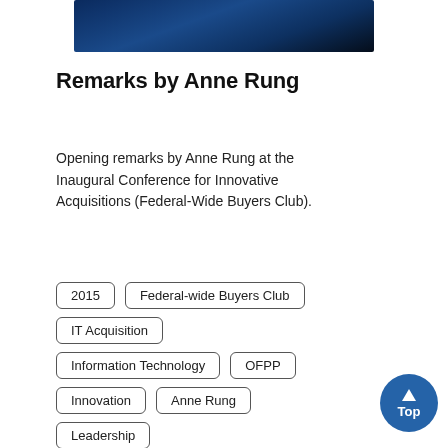[Figure (photo): Dark blue abstract background image banner]
Remarks by Anne Rung
Opening remarks by Anne Rung at the Inaugural Conference for Innovative Acquisitions (Federal-Wide Buyers Club).
2015
Federal-wide Buyers Club
IT Acquisition
Information Technology
OFPP
Innovation
Anne Rung
Leadership